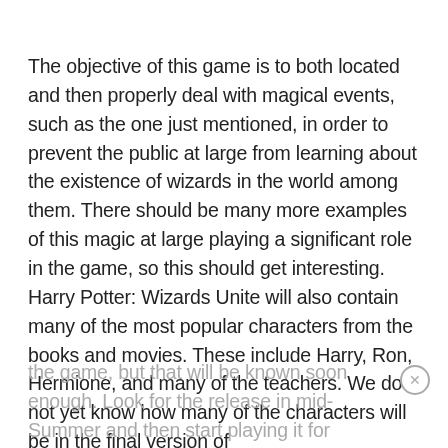The objective of this game is to both located and then properly deal with magical events, such as the one just mentioned, in order to prevent the public at large from learning about the existence of wizards in the world among them. There should be many more examples of this magic at large playing a significant role in the game, so this should get interesting. Harry Potter: Wizards Unite will also contain many of the most popular characters from the books and movies. These include Harry, Ron, Hermione, and many of the teachers. We do not yet know how many of the characters will be in the final version of the game, but that will be known soon enough. Look for the release in mid-Summer and then start playing it for yourself.